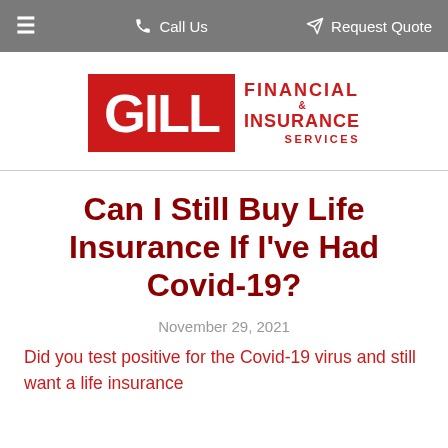≡   Call Us   Request Quote
[Figure (logo): Gill Financial & Insurance Services logo — red rectangle with white GILL text, followed by red FINANCIAL & INSURANCE SERVICES text]
Can I Still Buy Life Insurance If I've Had Covid-19?
November 29, 2021
Did you test positive for the Covid-19 virus and still want a life insurance